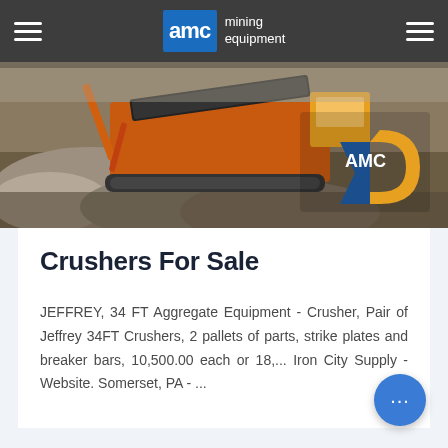AMC mining equipment
[Figure (photo): Mining equipment crusher in operation at a quarry or aggregate site, with orange machinery and conveyor belt visible. AMC logo watermarked on the image.]
Crushers For Sale
JEFFREY, 34 FT Aggregate Equipment - Crusher, Pair of Jeffrey 34FT Crushers, 2 pallets of parts, strike plates and breaker bars, 10,500.00 each or 18,... Iron City Supply - Website. Somerset, PA - ...